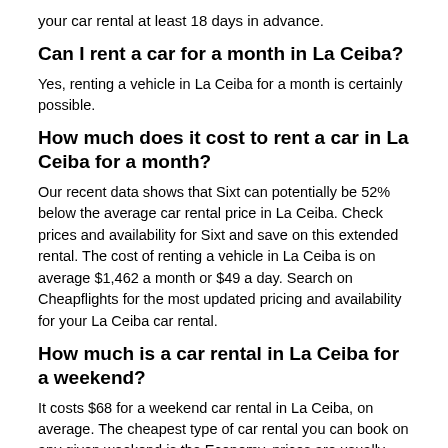your car rental at least 18 days in advance.
Can I rent a car for a month in La Ceiba?
Yes, renting a vehicle in La Ceiba for a month is certainly possible.
How much does it cost to rent a car in La Ceiba for a month?
Our recent data shows that Sixt can potentially be 52% below the average car rental price in La Ceiba. Check prices and availability for Sixt and save on this extended rental. The cost of renting a vehicle in La Ceiba is on average $1,462 a month or $49 a day. Search on Cheapflights for the most updated pricing and availability for your La Ceiba car rental.
How much is a car rental in La Ceiba for a weekend?
It costs $68 for a weekend car rental in La Ceiba, on average. The cheapest type of car rental you can book on any given weekend is the Economy, prices are usually lower for the rental to end